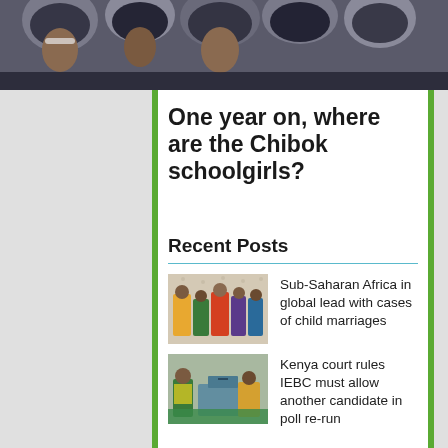[Figure (photo): Top banner photo showing women/girls in headscarves, partially cropped]
One year on, where are the Chibok schoolgirls?
Recent Posts
[Figure (photo): Thumbnail photo of women standing in colorful clothing]
Sub-Saharan Africa in global lead with cases of child marriages
[Figure (photo): Thumbnail photo of people at a polling station with a ballot box]
Kenya court rules IEBC must allow another candidate in poll re-run